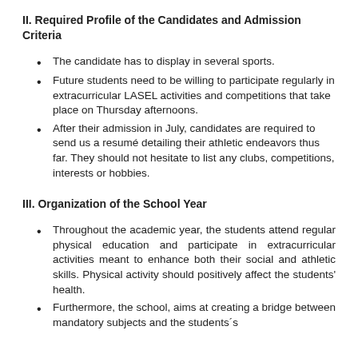II. Required Profile of the Candidates and Admission Criteria
The candidate has to display in several sports.
Future students need to be willing to participate regularly in extracurricular LASEL activities and competitions that take place on Thursday afternoons.
After their admission in July, candidates are required to send us a resumé detailing their athletic endeavors thus far. They should not hesitate to list any clubs, competitions, interests or hobbies.
III. Organization of the School Year
Throughout the academic year, the students attend regular physical education and participate in extracurricular activities meant to enhance both their social and athletic skills. Physical activity should positively affect the students' health.
Furthermore, the school, aims at creating a bridge between mandatory subjects and the students´s